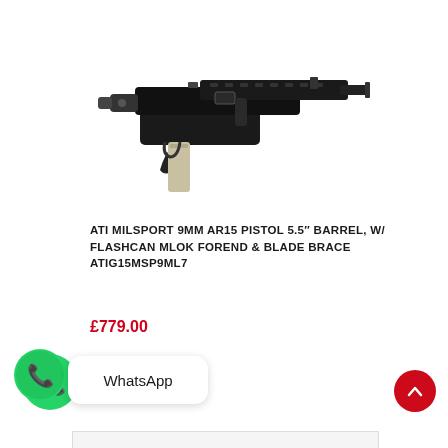[Figure (photo): Product photo of an ATI MilSport 9mm AR15 pistol with 5.5 inch barrel, flashcan, MLOK forend and blade brace. Shown in black on white background, side profile view.]
ATI MILSPORT 9MM AR15 PISTOL 5.5" BARREL, W/ FLASHCAN MLOK FOREND & BLADE BRACE ATIG15MSP9ML7
£779.00
WhatsApp